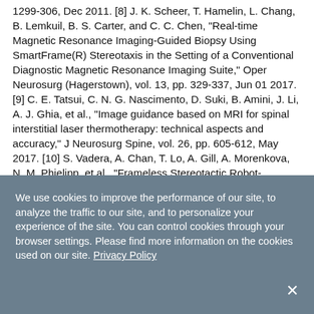1299-306, Dec 2011. [8] J. K. Scheer, T. Hamelin, L. Chang, B. Lemkuil, B. S. Carter, and C. C. Chen, "Real-time Magnetic Resonance Imaging-Guided Biopsy Using SmartFrame(R) Stereotaxis in the Setting of a Conventional Diagnostic Magnetic Resonance Imaging Suite," Oper Neurosurg (Hagerstown), vol. 13, pp. 329-337, Jun 01 2017. [9] C. E. Tatsui, C. N. G. Nascimento, D. Suki, B. Amini, J. Li, A. J. Ghia, et al., "Image guidance based on MRI for spinal interstitial laser thermotherapy: technical aspects and accuracy," J Neurosurg Spine, vol. 26, pp. 605-612, May 2017. [10] S. Vadera, A. Chan, T. Lo, A. Gill, A. Morenkova, N. M. Phielipp, et al., "Frameless Stereotactic Robot-Assisted Subthalamic Nucleus Deep Brain Stimulation: Case Report," World
We use cookies to improve the performance of our site, to analyze the traffic to our site, and to personalize your experience of the site. You can control cookies through your browser settings. Please find more information on the cookies used on our site. Privacy Policy